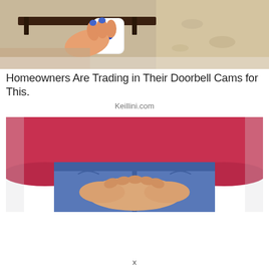[Figure (photo): Person's hand reaching up to install or press a small white doorbell camera device mounted under a dark wooden shelf, with a textured wall in background]
Homeowners Are Trading in Their Doorbell Cams for This.
Keillini.com
[Figure (photo): Close-up of a person wearing a dark red/magenta top and blue jeans, hands clasped together at waist level]
x